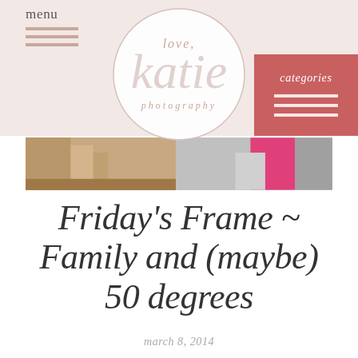menu
[Figure (logo): Circular logo for 'love, katie photography' with script text inside a circle outline]
categories
[Figure (photo): Photo strip showing partial indoor/staircase scene on left and person in pink and gray clothing on right]
Friday's Frame ~ Family and (maybe) 50 degrees
march 8, 2014